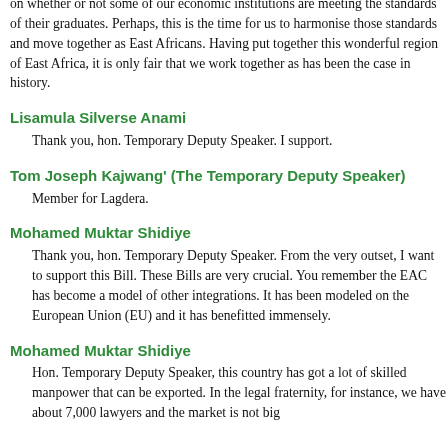on whether or not some of our economic institutions are meeting the standards of their graduates. Perhaps, this is the time for us to harmonise those standards and move together as East Africans. Having put together this wonderful region of East Africa, it is only fair that we work together as has been the case in history.
Lisamula Silverse Anami
Thank you, hon. Temporary Deputy Speaker. I support.
Tom Joseph Kajwang' (The Temporary Deputy Speaker)
Member for Lagdera.
Mohamed Muktar Shidiye
Thank you, hon. Temporary Deputy Speaker. From the very outset, I want to support this Bill. These Bills are very crucial. You remember the EAC has become a model of other integrations. It has been modeled on the European Union (EU) and it has benefitted immensely.
Mohamed Muktar Shidiye
Hon. Temporary Deputy Speaker, this country has got a lot of skilled manpower that can be exported. In the legal fraternity, for instance, we have about 7,000 lawyers and the market is not big